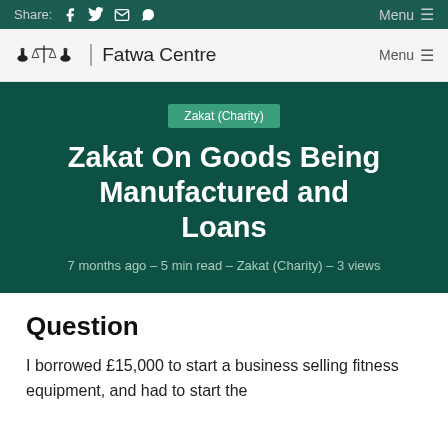Share: [Facebook] [Twitter] [Email] [WhatsApp]   Menu ≡
Fatwa Centre   Menu ≡
Zakat (Charity)
Zakat On Goods Being Manufactured and Loans
7 months ago – 5 min read – Zakat (Charity) – 3 views
Question
I borrowed £15,000 to start a business selling fitness equipment, and had to start the...